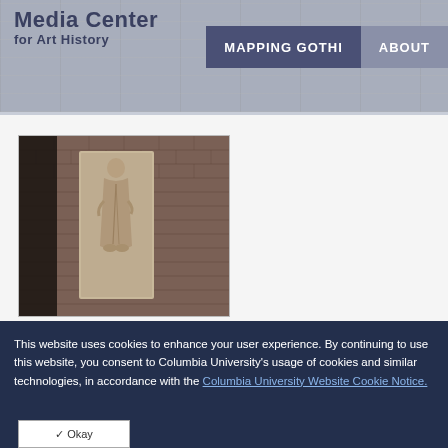Media Center for Art History | MAPPING GOTHI | ABOUT
[Figure (photo): Stone relief sculpture of a standing figure embedded in a brick wall, viewed through an archway]
This website uses cookies to enhance your user experience. By continuing to use this website, you consent to Columbia University's usage of cookies and similar technologies, in accordance with the Columbia University Website Cookie Notice.